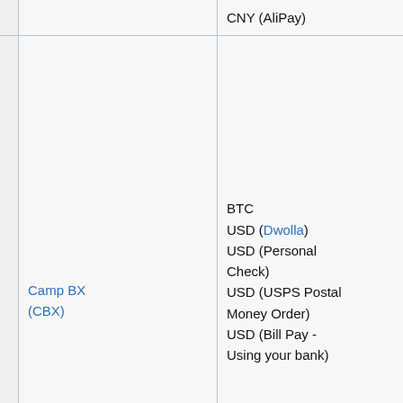| (col1) | Exchange | Deposit Methods | Withdrawal Methods |
| --- | --- | --- | --- |
|  |  | CNY (AliPay) | BT...
US...
US...
De...
US...
Mo...
US... ba...
US... ba... |
|  | Camp BX (CBX) | BTC
USD (Dwolla)
USD (Personal Check)
USD (USPS Postal Money Order)
USD (Bill Pay - Using your bank) | BTC
USD...
USD...
De...
USD...
Mo...
USD... ba...
USD... ba... |
|  |  |  |  |